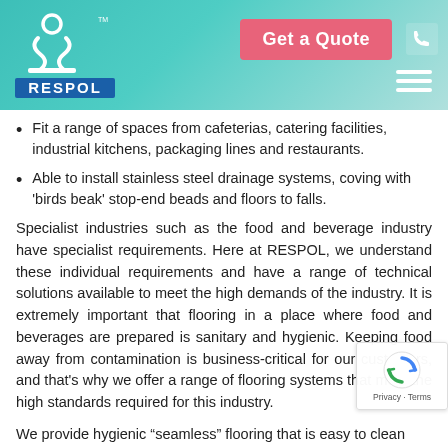[Figure (logo): RESPOL company logo with teal swirl icon and RESPOL text in blue banner, Get a Quote button, phone icon, and hamburger menu]
Fit a range of spaces from cafeterias, catering facilities, industrial kitchens, packaging lines and restaurants.
Able to install stainless steel drainage systems, coving with 'birds beak' stop-end beads and floors to falls.
Specialist industries such as the food and beverage industry have specialist requirements. Here at RESPOL, we understand these individual requirements and have a range of technical solutions available to meet the high demands of the industry. It is extremely important that flooring in a place where food and beverages are prepared is sanitary and hygienic. Keeping food away from contamination is business-critical for our customers, and that's why we offer a range of flooring systems that meet the high standards required for this industry.
We provide hygienic "seamless" flooring that is easy to clean